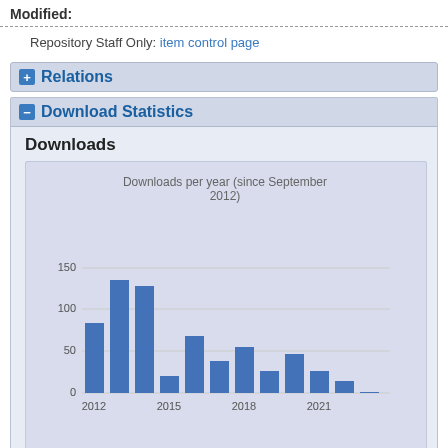Modified:
Repository Staff Only: item control page
Relations
Download Statistics
Downloads
[Figure (bar-chart): Downloads per year (since September 2012)]